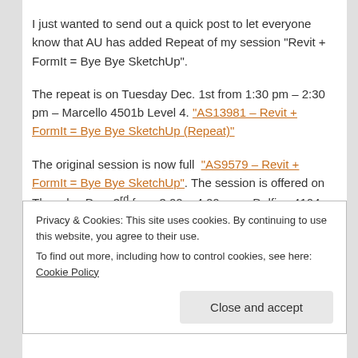I just wanted to send out a quick post to let everyone know that AU has added Repeat of my session “Revit + FormIt = Bye Bye SketchUp”.
The repeat is on Tuesday Dec. 1st from 1:30 pm – 2:30 pm – Marcello 4501b Level 4. “AS13981 – Revit + FormIt = Bye Bye SketchUp (Repeat)”
The original session is now full “AS9579 – Revit + FormIt = Bye Bye SketchUp”. The session is offered on Thursday Dec. 3rd from 3:00 – 4:00 pm – Delfino 4104
Privacy & Cookies: This site uses cookies. By continuing to use this website, you agree to their use.
To find out more, including how to control cookies, see here: Cookie Policy